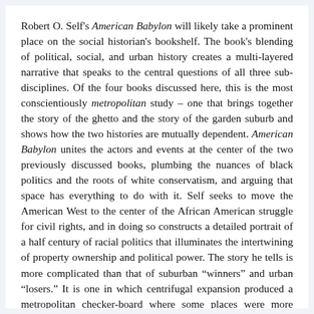Robert O. Self's American Babylon will likely take a prominent place on the social historian's bookshelf. The book's blending of political, social, and urban history creates a multi-layered narrative that speaks to the central questions of all three sub-disciplines. Of the four books discussed here, this is the most conscientiously metropolitan study – one that brings together the story of the ghetto and the story of the garden suburb and shows how the two histories are mutually dependent. American Babylon unites the actors and events at the center of the two previously discussed books, plumbing the nuances of black politics and the roots of white conservatism, and arguing that space has everything to do with it. Self seeks to move the American West to the center of the African American struggle for civil rights, and in doing so constructs a detailed portrait of a half century of racial politics that illuminates the intertwining of property ownership and political power. The story he tells is more complicated than that of suburban “winners” and urban “losers.” It is one in which centrifugal expansion produced a metropolitan checker-board where some places were more privileged than others, and where this privilege almost always correlated with race.
The first part of American Babylon explores the forces that built the postwar metropolitan landscape and defined the structures of economic and social opportunity across urban space. The pro-